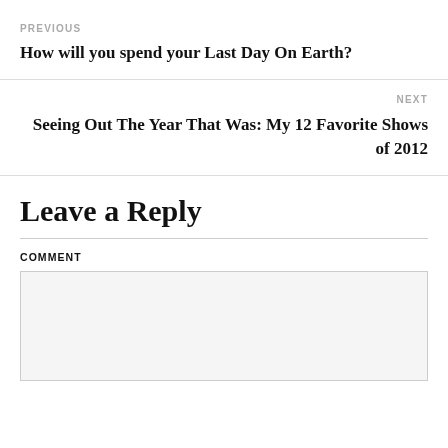PREVIOUS
How will you spend your Last Day On Earth?
NEXT
Seeing Out The Year That Was: My 12 Favorite Shows of 2012
Leave a Reply
COMMENT